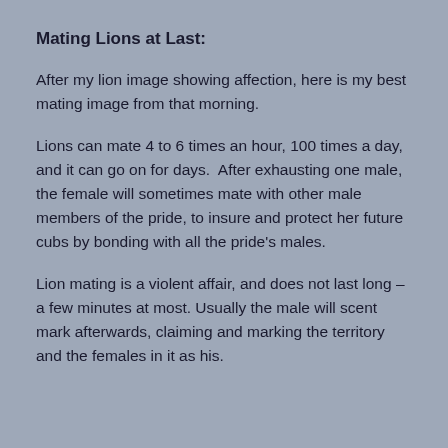Mating Lions at Last:
After my lion image showing affection, here is my best mating image from that morning.
Lions can mate 4 to 6 times an hour, 100 times a day, and it can go on for days.  After exhausting one male, the female will sometimes mate with other male members of the pride, to insure and protect her future cubs by bonding with all the pride's males.
Lion mating is a violent affair, and does not last long –a few minutes at most. Usually the male will scent mark afterwards, claiming and marking the territory and the females in it as his.